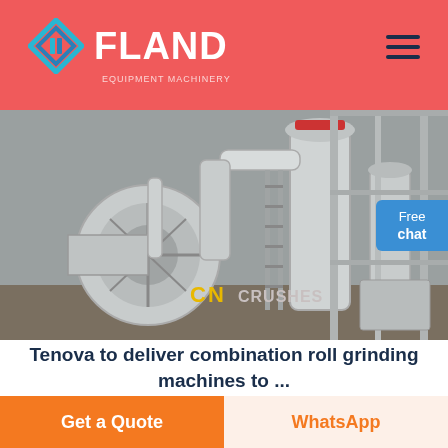FLAND
[Figure (photo): Industrial grinding mill machinery — large cylindrical equipment with pipes, towers, and structural steel framing in a factory setting. Watermark text 'CN CRUSHES' visible.]
Tenova to deliver combination roll grinding machines to ...
May 03, 2021• The machines are designed for
Get a Quote
WhatsApp